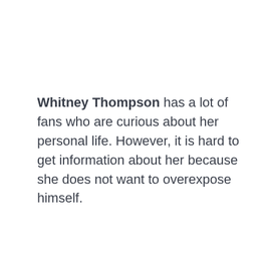Whitney Thompson has a lot of fans who are curious about her personal life. However, it is hard to get information about her because she does not want to overexpose himself.